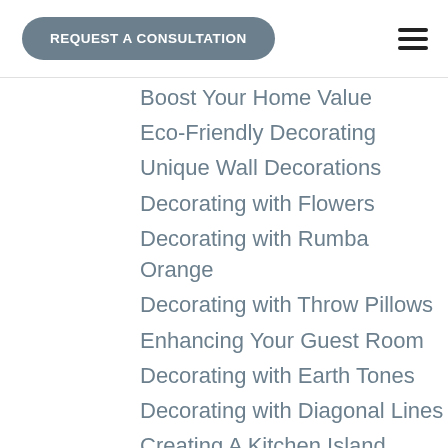REQUEST A CONSULTATION
Boost Your Home Value
Eco-Friendly Decorating
Unique Wall Decorations
Decorating with Flowers
Decorating with Rumba Orange
Decorating with Throw Pillows
Enhancing Your Guest Room
Decorating with Earth Tones
Decorating with Diagonal Lines
Creating A Kitchen Island
Decorating with the Color Cream
Decorating Kids' Rooms
Decorating with Lamps
Selecting the Perfect Side Table
Decorating with Greige
Decorating with Floral Patterns
Decorating with Stripes